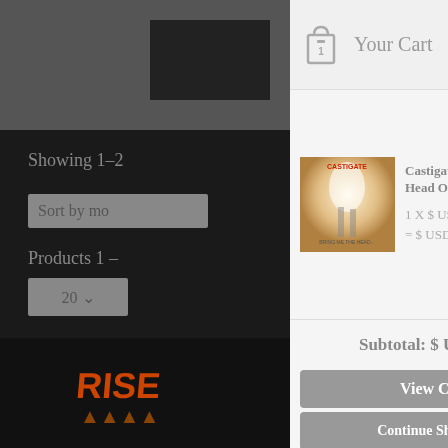[Figure (screenshot): Left dark panel showing partial e-commerce page with showing text, sort box, products text, select box, filter box, and album art thumbnail at bottom]
Showing 1–2
Sort by mo
Products 1 –
20
Filter by
Your Cart
[Figure (photo): Album cover for Castigate - Bring Me The Head Of Jesus Christ, showing bright light with figures]
Castigate - Bring Me The Head Of Jesus Christ
1 X $ USD 8.00
= $ USD 8.00
Subtotal: $ USD 8.00
View Cart
Continue Shopping
Checkout